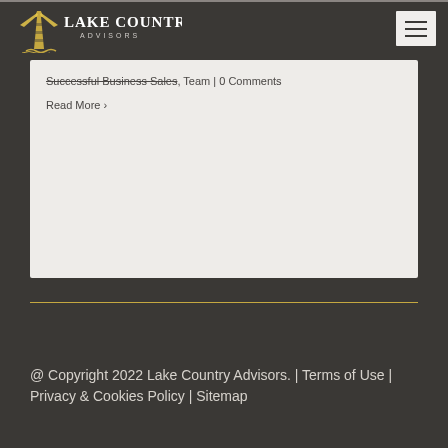[Figure (logo): Lake Country Advisors logo with lighthouse and gold/white text]
Successful Business Sales, Team | 0 Comments
Read More >
@ Copyright 2022 Lake Country Advisors. | Terms of Use | Privacy & Cookies Policy | Sitemap